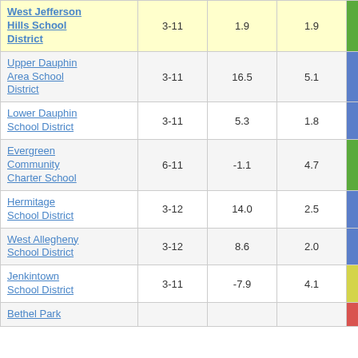| District | Grades | Col3 | Col4 | Score |  |
| --- | --- | --- | --- | --- | --- |
| West Jefferson Hills School District | 3-11 | 1.9 | 1.9 | 0.99 |  |
| Upper Dauphin Area School District | 3-11 | 16.5 | 5.1 | 3.26 |  |
| Lower Dauphin School District | 3-11 | 5.3 | 1.8 | 3.03 |  |
| Evergreen Community Charter School | 6-11 | -1.1 | 4.7 | -0.23 |  |
| Hermitage School District | 3-12 | 14.0 | 2.5 | 5.59 |  |
| West Allegheny School District | 3-12 | 8.6 | 2.0 | 4.34 |  |
| Jenkintown School District | 3-11 | -7.9 | 4.1 | -1.92 |  |
| Bethel Park |  |  |  |  |  |